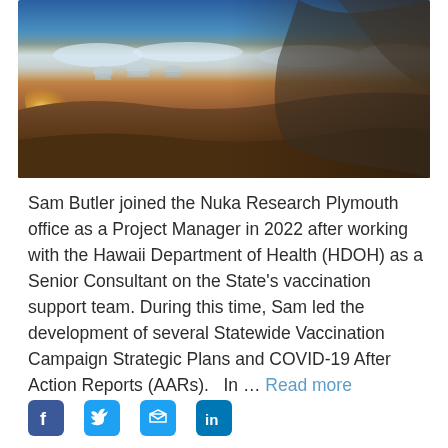[Figure (photo): A man taking a selfie on a high-altitude volcanic summit (likely Mauna Kea, Hawaii) above the clouds, with observatory domes visible in the background. Golden sunset light, blue sky at top.]
Sam Butler joined the Nuka Research Plymouth office as a Project Manager in 2022 after working with the Hawaii Department of Health (HDOH) as a Senior Consultant on the State's vaccination support team. During this time, Sam led the development of several Statewide Vaccination Campaign Strategic Plans and COVID-19 After Action Reports (AARs).   In … Read more